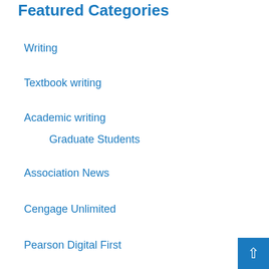Featured Categories
Writing
Textbook writing
Academic writing
Graduate Students
Association News
Cengage Unlimited
Pearson Digital First
All Categories
Select Category